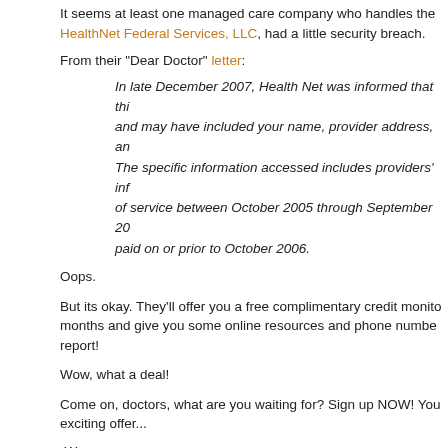It seems at least one managed care company who handles the HealthNet Federal Services, LLC, had a little security breach.
From their "Dear Doctor" letter:
In late December 2007, Health Net was informed that this and may have included your name, provider address, an The specific information accessed includes providers' inf of service between October 2005 through September 20 paid on or prior to October 2006.
Oops.
But its okay. They'll offer you a free complimentary credit monito months and give you some online resources and phone numbe report!
Wow, what a deal!
Come on, doctors, what are you waiting for? Sign up NOW! You exciting offer...
-Wes